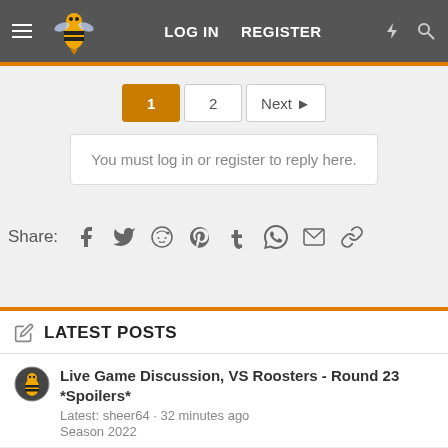LOG IN  REGISTER
1  2  Next
You must log in or register to reply here.
Share:
LATEST POSTS
Live Game Discussion, VS Roosters - Round 23 *Spoilers* Latest: sheer64 · 32 minutes ago Season 2022